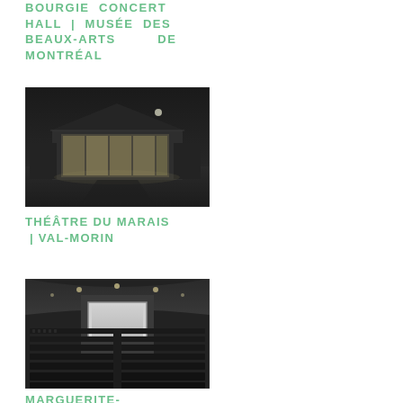BOURGIE CONCERT HALL | MUSÉE DES BEAUX-ARTS DE MONTRÉAL
[Figure (photo): Black and white exterior night photograph of Bourgie Concert Hall at Musée des Beaux-Arts de Montréal, showing a modern building with large glass facade and gabled roof, illuminated from within, with a dark sky and grounds in the foreground.]
THÉÂTRE DU MARAIS | VAL-MORIN
[Figure (photo): Black and white interior photograph of a theatre auditorium, showing rows of seating in perspective, a stage with a white projection screen or proscenium arch at the far end, and a curved ceiling with recessed lighting.]
MARGUERITE-BOURGEOIS